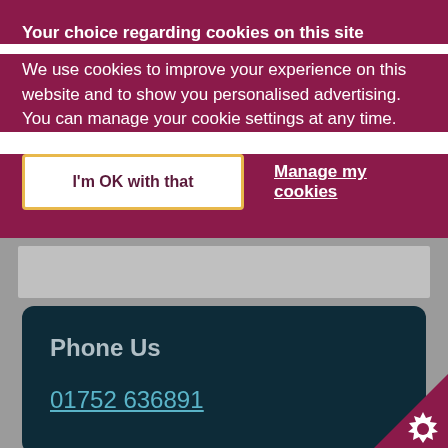Your choice regarding cookies on this site
We use cookies to improve your experience on this website and to show you personalised advertising. You can manage your cookie settings at any time.
I'm OK with that
Manage my cookies
Phone Us
01752 636891